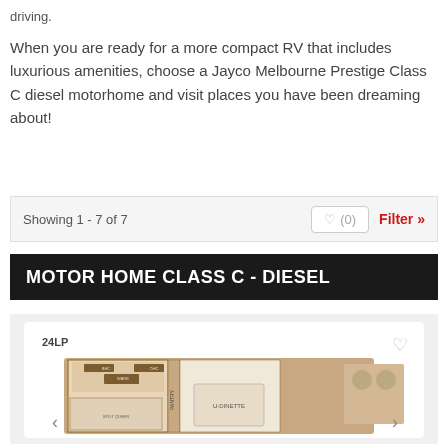driving.
When you are ready for a more compact RV that includes luxurious amenities, choose a Jayco Melbourne Prestige Class C diesel motorhome and visit places you have been dreaming about!
Showing 1 - 7 of 7
Filter »
MOTOR HOME CLASS C - DIESEL
[Figure (illustration): Floor plan diagram of Jayco Melbourne Prestige 24LP Class C diesel motorhome showing interior layout with bedroom, dinette, and cab area]